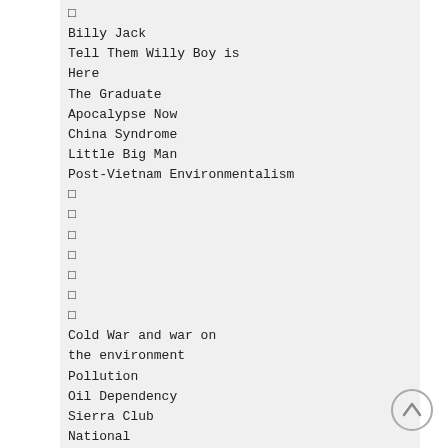□
Billy Jack
Tell Them Willy Boy is Here
The Graduate
Apocalypse Now
China Syndrome
Little Big Man
Post-Vietnam Environmentalism
□
□
□
□
□
□
□
Cold War and war on the environment
Pollution
Oil Dependency
Sierra Club
National Environmental Protection Agency
Love Canal